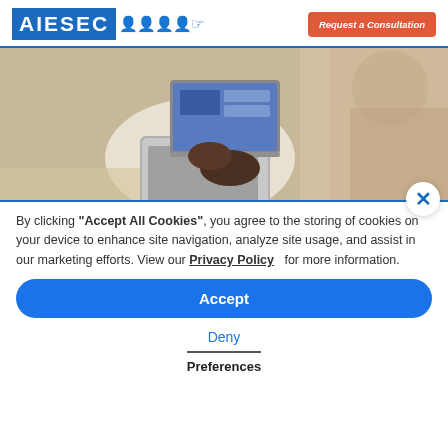AIESEC [logo with figures]
[Figure (photo): Overhead view of a person sitting on a couch working on a laptop on a round white table, partially blurred on the right side]
By clicking "Accept All Cookies", you agree to the storing of cookies on your device to enhance site navigation, analyze site usage, and assist in our marketing efforts. View our Privacy Policy   for more information.
Accept
Deny
Preferences